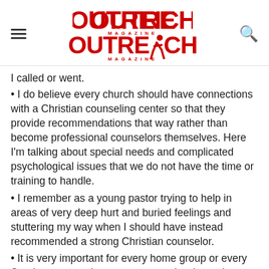Outreach Magazine
I called or went.
I do believe every church should have connections with a Christian counseling center so that they provide recommendations that way rather than become professional counselors themselves. Here I'm talking about special needs and complicated psychological issues that we do not have the time or training to handle.
I remember as a young pastor trying to help in areas of very deep hurt and buried feelings and stuttering my way when I should have instead recommended a strong Christian counselor.
It is very important for every home group or every Sunday group to have a care captain who makes sure that every family or person involved is on